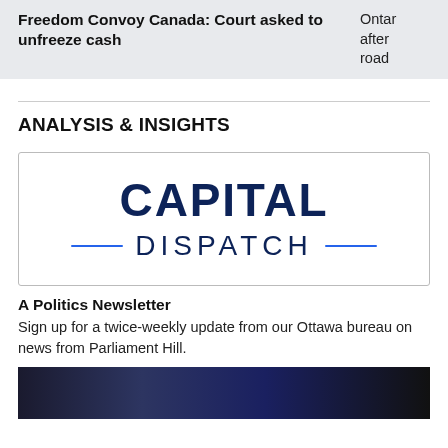Freedom Convoy Canada: Court asked to unfreeze cash
Ontar after road
ANALYSIS & INSIGHTS
[Figure (logo): Capital Dispatch logo — bold dark navy 'CAPITAL' text above 'DISPATCH' with blue horizontal lines flanking the word]
A Politics Newsletter
Sign up for a twice-weekly update from our Ottawa bureau on news from Parliament Hill.
[Figure (photo): Dark photo strip at bottom, appears to show people in a dimly lit setting with blue tones]